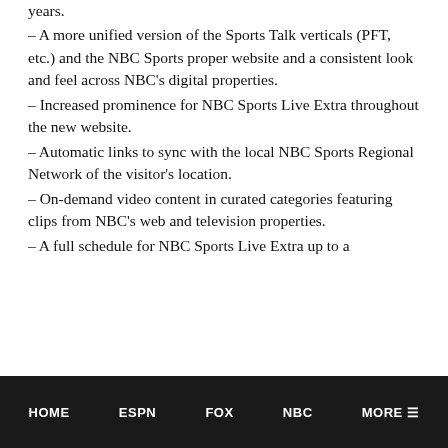years.
– A more unified version of the Sports Talk verticals (PFT, etc.) and the NBC Sports proper website and a consistent look and feel across NBC's digital properties.
– Increased prominence for NBC Sports Live Extra throughout the new website.
– Automatic links to sync with the local NBC Sports Regional Network of the visitor's location.
– On-demand video content in curated categories featuring clips from NBC's web and television properties.
– A full schedule for NBC Sports Live Extra up to a
HOME   ESPN   FOX   NBC   MORE ≡